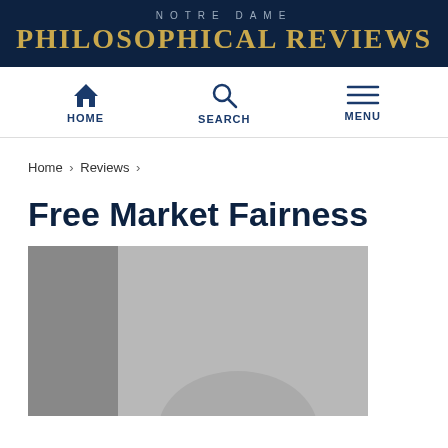NOTRE DAME
PHILOSOPHICAL REVIEWS
[Figure (screenshot): Navigation bar with Home, Search, and Menu icons]
Home › Reviews ›
Free Market Fairness
[Figure (photo): Book cover image shown in grayscale, partially cropped]